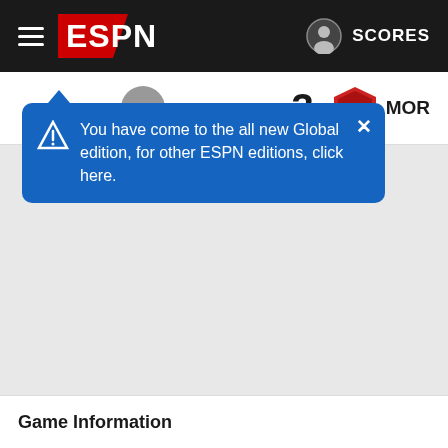[Figure (screenshot): ESPN website navigation bar with hamburger menu, ESPN logo on red/dark background, and SCORES link with user icon on right]
You have come to the all new Global edition, for other ESPN editions, click here.
3  MOR
Game Information